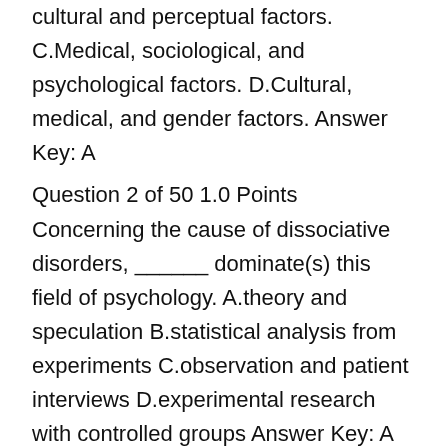cultural and perceptual factors. C.Medical, sociological, and psychological factors. D.Cultural, medical, and gender factors. Answer Key: A
Question 2 of 50 1.0 Points Concerning the cause of dissociative disorders, ______ dominate(s) this field of psychology. A.theory and speculation B.statistical analysis from experiments C.observation and patient interviews D.experimental research with controlled groups Answer Key: A